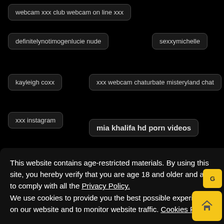webcam xxx club webcam on line xxx
definitelynotimogenlucie nude
sexxymichelle
kayleigh coxx
xxx webcam chaturbate misteryland chat
xxx instagram
mia khalifa hd porn videos
This website contains age-restricted materials. By using this site, you hereby verify that you are age 18 and older and agree to comply with all the Privacy Policy. We use cookies to provide you the best possible experience on our website and to monitor website traffic. Cookies Policy.